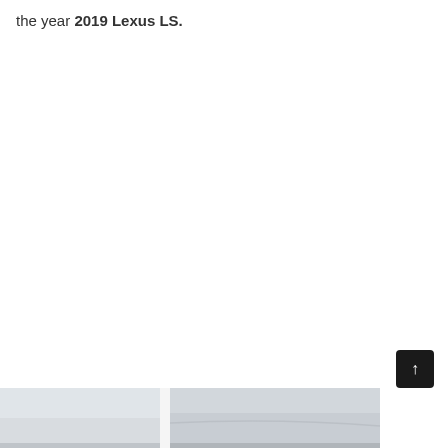the year 2019 Lexus LS.
[Figure (photo): Partial view of a Lexus LS car roof/body panel in light silver/white color, visible at the bottom of the page]
[Figure (other): Dark back-to-top arrow button in bottom right corner]